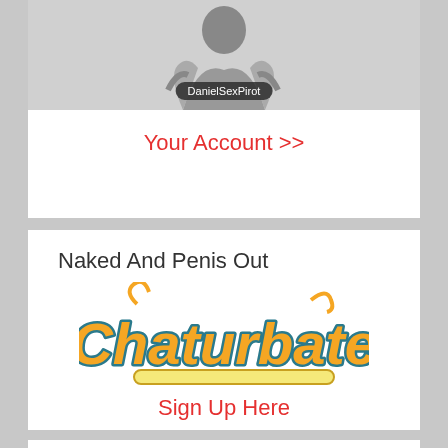[Figure (photo): Black and white photo of a person in a crouched pose with username badge 'DanielSexPirot']
Your Account >>
Naked And Penis Out
[Figure (logo): Chaturbate logo in orange and teal script lettering]
Sign Up Here
Live Broadcast Today